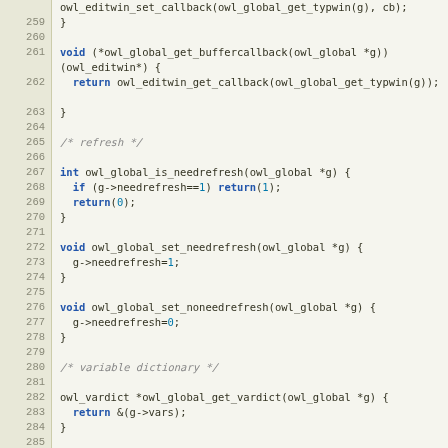[Figure (screenshot): Source code listing in C showing owl_global functions for buffer callback, needrefresh, vardict, and command dictionary, with line numbers 259-288 displayed in a code editor style view.]